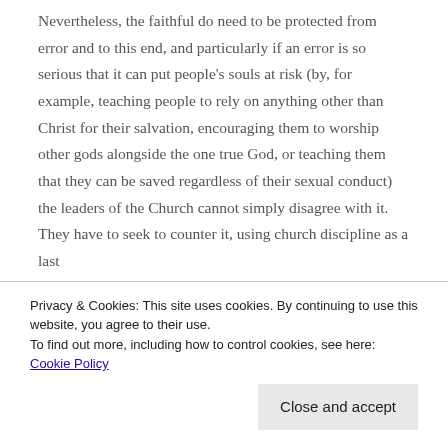Nevertheless, the faithful do need to be protected from error and to this end, and particularly if an error is so serious that it can put people's souls at risk (by, for example, teaching people to rely on anything other than Christ for their salvation, encouraging them to worship other gods alongside the one true God, or teaching them that they can be saved regardless of their sexual conduct) the leaders of the Church cannot simply disagree with it. They have to seek to counter it, using church discipline as a last
Privacy & Cookies: This site uses cookies. By continuing to use this website, you agree to their use. To find out more, including how to control cookies, see here: Cookie Policy
Close and accept